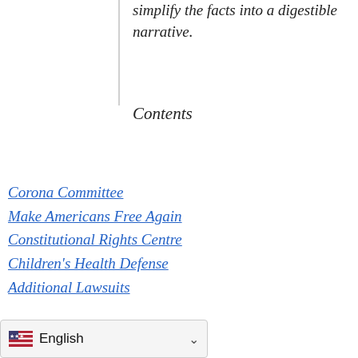simplify the facts into a digestible narrative.
Contents
Corona Committee
Make Americans Free Again
Constitutional Rights Centre
Children's Health Defense
Additional Lawsuits
This Corona crisis, according to all we know today, must be renamed a Corona scandal, and those responsible for it must be criminally prosecuted and sued for civil law damages. On a political level, everything must be done to ensure that no one will ever again be in a position of such power as